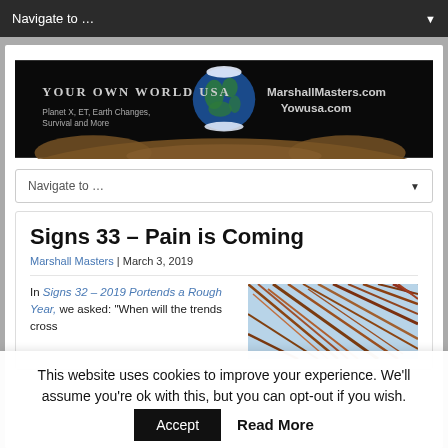Navigate to ...
[Figure (screenshot): Your Own World USA website banner with Earth rising over lunar surface. Text: Your Own World USA, Planet X, ET, Earth Changes, Survival and More, MarshallMasters.com, Yowusa.com]
Navigate to ...
Signs 33 – Pain is Coming
Marshall Masters | March 3, 2019
In Signs 32 – 2019 Portends a Rough Year, we asked: "When will the trends cross
[Figure (photo): Dried brown grass or plant fibers close-up photo]
This website uses cookies to improve your experience. We'll assume you're ok with this, but you can opt-out if you wish.
Accept   Read More